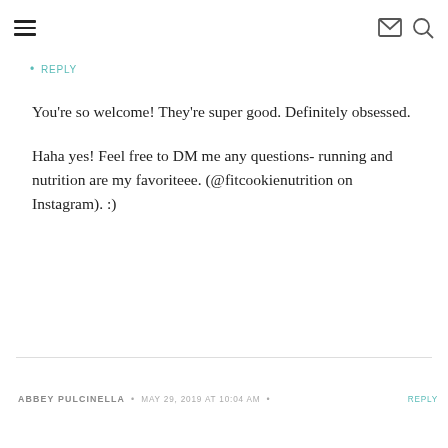navigation header with hamburger menu, email icon, and search icon
REPLY
You're so welcome! They're super good. Definitely obsessed.

Haha yes! Feel free to DM me any questions- running and nutrition are my favoriteee. (@fitcookienutrition on Instagram). :)
ABBEY PULCINELLA • MAY 29, 2019 AT 10:04 AM • REPLY